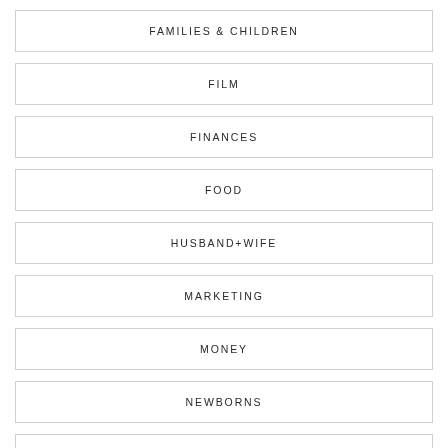FAMILIES & CHILDREN
FILM
FINANCES
FOOD
HUSBAND+WIFE
MARKETING
MONEY
NEWBORNS
PET PHOTOGRAPHY